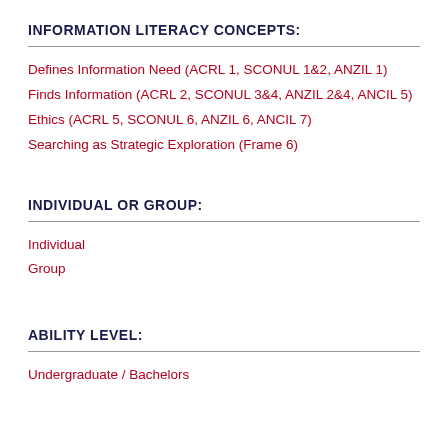INFORMATION LITERACY CONCEPTS:
Defines Information Need (ACRL 1, SCONUL 1&2, ANZIL 1)
Finds Information (ACRL 2, SCONUL 3&4, ANZIL 2&4, ANCIL 5)
Ethics (ACRL 5, SCONUL 6, ANZIL 6, ANCIL 7)
Searching as Strategic Exploration (Frame 6)
INDIVIDUAL OR GROUP:
Individual
Group
ABILITY LEVEL:
Undergraduate / Bachelors